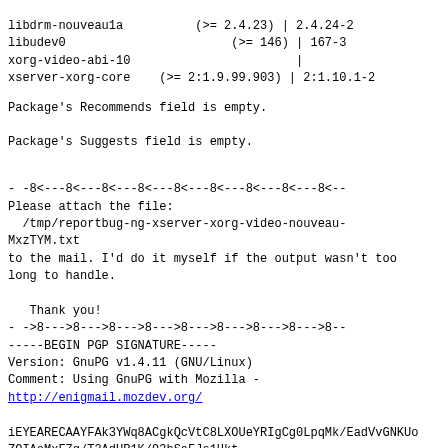| Package | Version Constraint |  | Installed |
| --- | --- | --- | --- |
| libdrm-nouveau1a | (>= 2.4.23) | | | 2.4.24-2 |
| libudev0 | (>= 146) | | | 167-3 |
| xorg-video-abi-10 |  | | |  |
| xserver-xorg-core | (>= 2:1.9.99.903) | | | 2:1.10.1-2 |
Package's Recommends field is empty.
Package's Suggests field is empty.
- -8<---8<---8<---8<---8<---8<---8<---8<---8<--
Please attach the file:
  /tmp/reportbug-ng-xserver-xorg-video-nouveau-MxzTYM.txt
to the mail. I'd do it myself if the output wasn't too long to handle.

   Thank you!
- ->8--->8--->8--->8--->8--->8--->8--->8--->8--
-----BEGIN PGP SIGNATURE-----
Version: GnuPG v1.4.11 (GNU/Linux)
Comment: Using GnuPG with Mozilla -
http://enigmail.mozdev.org/

iEYEARECAAYFAk3YWq8ACgkQcVtC8LXOUeYRIgCg0LpqMk/EadVvGNKUo
ZOIAoMxF7g/T3AdUR1K/93bSaFJs1Hkt
=TtyG
     END PGP SIGNATURE